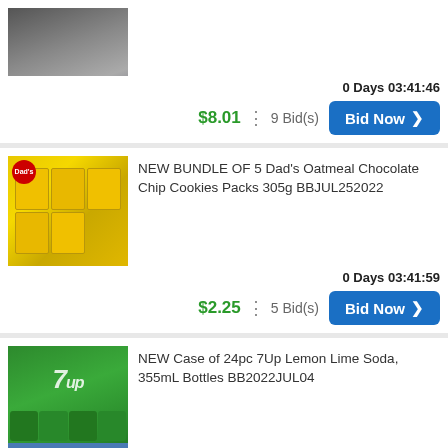[Figure (photo): Partially cropped photo of 7Up bottles in a blue tray (top portion only visible)]
0 Days 03:41:46
$8.01 : 9 Bid(s) Bid Now >
[Figure (photo): Bundle of 5 Dad's Oatmeal Chocolate Chip Cookies packages in yellow packaging]
NEW BUNDLE OF 5 Dad's Oatmeal Chocolate Chip Cookies Packs 305g BBJUL252022
0 Days 03:41:59
$2.25 : 5 Bid(s) Bid Now >
[Figure (photo): Case of 24pc 7Up Lemon Lime Soda 355mL green bottles in a cardboard tray]
NEW Case of 24pc 7Up Lemon Lime Soda, 355mL Bottles BB2022JUL04
0 Days 03:46:44
$4.00 : 5 Bid(s) Bid Now >